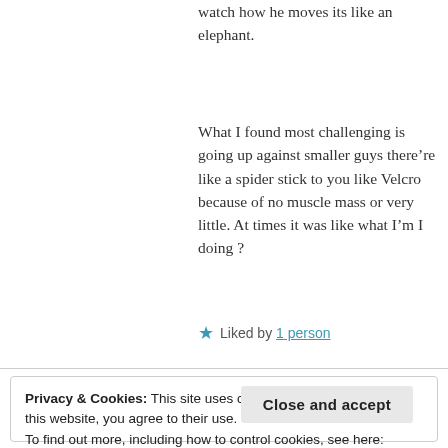watch how he moves its like an elephant.
What I found most challenging is going up against smaller guys there’re like a spider stick to you like Velcro because of no muscle mass or very little. At times it was like what I’m I doing ?
★ Liked by 1 person
Privacy & Cookies: This site uses cookies. By continuing to use this website, you agree to their use.
To find out more, including how to control cookies, see here: Cookie Policy
Close and accept